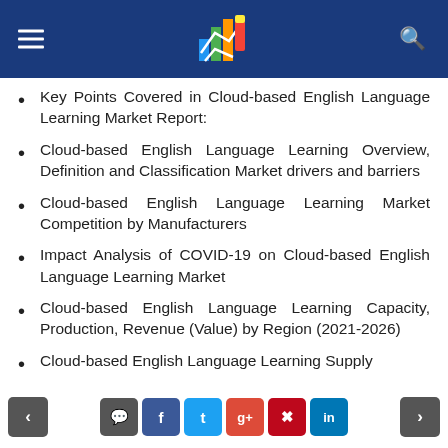[Logo and navigation header bar]
Key Points Covered in Cloud-based English Language Learning Market Report:
Cloud-based English Language Learning Overview, Definition and Classification Market drivers and barriers
Cloud-based English Language Learning Market Competition by Manufacturers
Impact Analysis of COVID-19 on Cloud-based English Language Learning Market
Cloud-based English Language Learning Capacity, Production, Revenue (Value) by Region (2021-2026)
Cloud-based English Language Learning Supply
< [comment] [facebook] [twitter] [google+] [pinterest] [linkedin] >